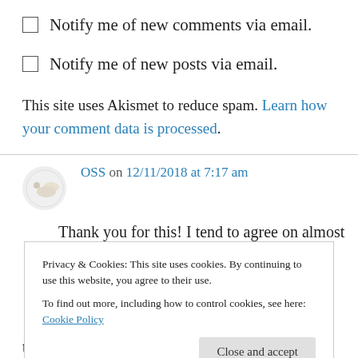Notify me of new comments via email.
Notify me of new posts via email.
This site uses Akismet to reduce spam. Learn how your comment data is processed.
OSS on 12/11/2018 at 7:17 am
Thank you for this! I tend to agree on almost all points. The choppiness is jarring. I find myself
Privacy & Cookies: This site uses cookies. By continuing to use this website, you agree to their use.
To find out more, including how to control cookies, see here: Cookie Policy
to end until all of the books have been adapted